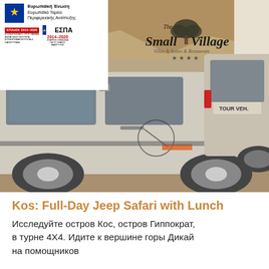[Figure (photo): Two Land Rover jeep safari vehicles parked side by side on a dirt/gravel surface with rocky terrain in background. The Small Village logo overlaid on the photo. Front vehicle has a decorative graphic on the door.]
[Figure (logo): EU logos: Ευρωπαϊκή Ένωση / Ευρωπαϊκό Ταμείο Περιφερειακής Ανάπτυξης star logo, ΕΠΑνΕΚ 2014-2020 red badge, ΕΣΠΑ 2014-2020 logo]
[Figure (logo): The Small Village Villas & Suites & Restaurant four-star logo with olive tree illustration]
Kos: Full-Day Jeep Safari with Lunch
Исследуйте остров Кос, остров Гиппократ, в турне 4X4. Идите к вершине горы Дикай на помощников